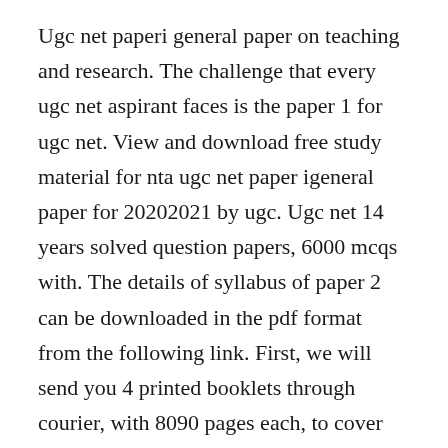Ugc net paperi general paper on teaching and research. The challenge that every ugc net aspirant faces is the paper 1 for ugc net. View and download free study material for nta ugc net paper igeneral paper for 20202021 by ugc. Ugc net 14 years solved question papers, 6000 mcqs with. The details of syllabus of paper 2 can be downloaded in the pdf format from the following link. First, we will send you 4 printed booklets through courier, with 8090 pages each, to cover entire syllabus. Ugc net previous year question papers pdf download. This paper is designed to test the candidates